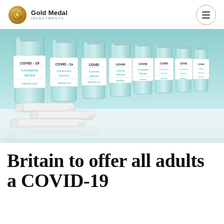Gold Medal Investments
[Figure (photo): Multiple COVID-19 Coronavirus Vaccine injection vials lined up in a row with syringes in the foreground, on a white surface. Labels read COVID-19 Coronavirus Vaccine Injection only.]
Britain to offer all adults a COVID-19